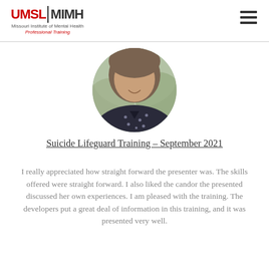UMSL | MIMH Missouri Institute of Mental Health Professional Training
[Figure (photo): Circular cropped headshot of a woman with shoulder-length brown hair, wearing a dark navy blue polka dot top, smiling, with a blurred green outdoor background.]
Suicide Lifeguard Training – September 2021
I really appreciated how straight forward the presenter was. The skills offered were straight forward. I also liked the candor the presented discussed her own experiences. I am pleased with the training. The developers put a great deal of information in this training, and it was presented very well.